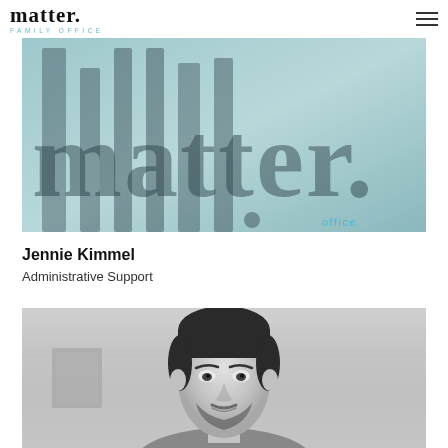matter. FAMILY OFFICE
[Figure (photo): Close-up photo of the word 'matter.' in large serif letters on a glass or frosted surface, with teal/blue-green background and a small blue script accent in the lower right]
Jennie Kimmel
Administrative Support
[Figure (photo): Black and white headshot portrait of a man with dark hair and beard, looking directly at camera, in an office setting]